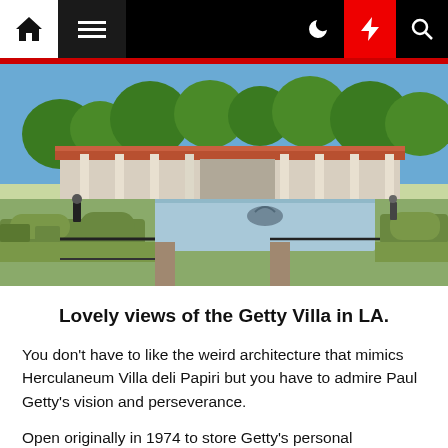Navigation bar with home, menu, dark mode, lightning/breaking news, and search icons
[Figure (photo): Exterior view of the Getty Villa in Los Angeles showing a Roman-style colonnade building with a large reflecting pool, fountain sculpture, formal hedged garden in the foreground, and lush green trees under a bright blue sky.]
Lovely views of the Getty Villa in LA.
You don't have to like the weird architecture that mimics Herculaneum Villa deli Papiri but you have to admire Paul Getty's vision and perseverance.
Open originally in 1974 to store Getty's personal